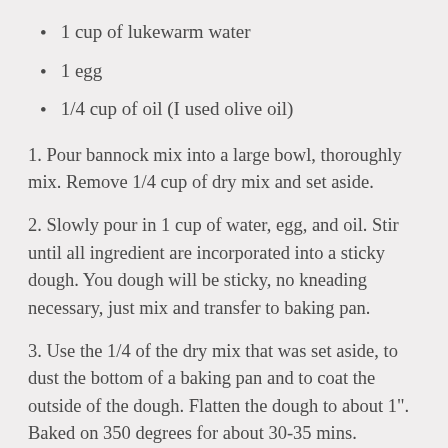1 cup of lukewarm water
1 egg
1/4 cup of oil (I used olive oil)
1. Pour bannock mix into a large bowl, thoroughly mix. Remove 1/4 cup of dry mix and set aside.
2. Slowly pour in 1 cup of water, egg, and oil. Stir until all ingredient are incorporated into a sticky dough. You dough will be sticky, no kneading necessary, just mix and transfer to baking pan.
3. Use the 1/4 of the dry mix that was set aside, to dust the bottom of a baking pan and to coat the outside of the dough. Flatten the dough to about 1". Baked on 350 degrees for about 30-35 mins.
4. Optionally: Coat the dough...